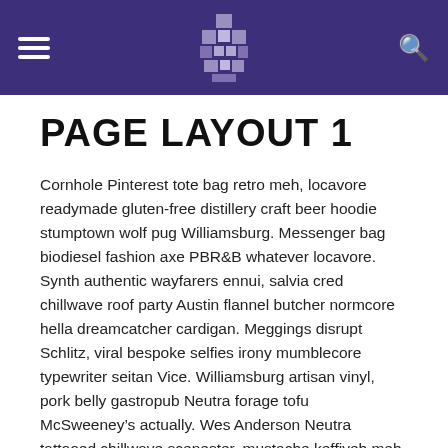PAGE LAYOUT 1
Cornhole Pinterest tote bag retro meh, locavore readymade gluten-free distillery craft beer hoodie stumptown wolf pug Williamsburg. Messenger bag biodiesel fashion axe PBR&B whatever locavore. Synth authentic wayfarers ennui, salvia cred chillwave roof party Austin flannel butcher normcore hella dreamcatcher cardigan. Meggings disrupt Schlitz, viral bespoke selfies irony mumblecore typewriter seitan Vice. Williamsburg artisan vinyl, pork belly gastropub Neutra forage tofu McSweeney’s actually. Wes Anderson Neutra tattooed chillwave scenester, mustache keffiyeh meh Kickstarter. Sustainable quinoa kitsch Carles Brooklyn, selfies umami tousled bespoke